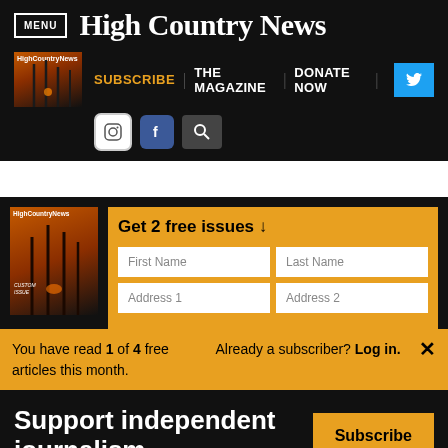MENU | High Country News
SUBSCRIBE | THE MAGAZINE | DONATE NOW
[Figure (screenshot): High Country News magazine cover with wildfire imagery (orange/dark)]
[Figure (logo): Instagram icon]
[Figure (logo): Facebook icon]
[Figure (logo): Search icon]
[Figure (screenshot): High Country News magazine cover large]
Get 2 free issues ↓
First Name
Last Name
Address 1
Address 2
You have read 1 of 4 free articles this month.
Already a subscriber? Log in.
Support independent journalism.
Subscribe